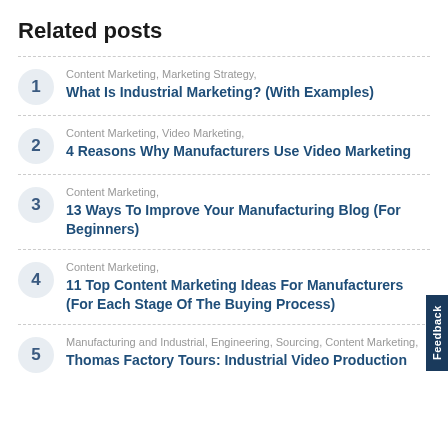Related posts
Content Marketing, Marketing Strategy, What Is Industrial Marketing? (With Examples)
Content Marketing, Video Marketing, 4 Reasons Why Manufacturers Use Video Marketing
Content Marketing, 13 Ways To Improve Your Manufacturing Blog (For Beginners)
Content Marketing, 11 Top Content Marketing Ideas For Manufacturers (For Each Stage Of The Buying Process)
Manufacturing and Industrial, Engineering, Sourcing, Content Marketing, Thomas Factory Tours: Industrial Video Production